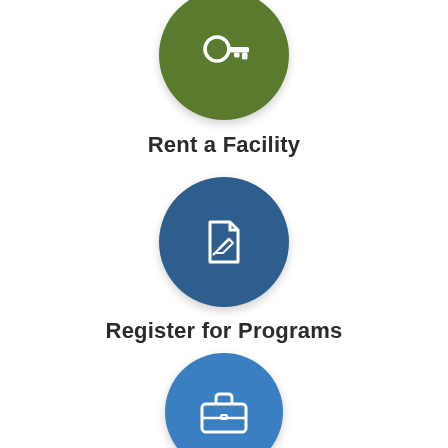[Figure (infographic): Green circle icon with a key symbol — Rent a Facility]
Rent a Facility
[Figure (infographic): Dark blue circle icon with a document and pencil symbol — Register for Programs]
Register for Programs
[Figure (infographic): Blue circle icon with a briefcase symbol — Employment]
Employment
[Figure (infographic): Green circle icon partially visible at bottom — additional item]